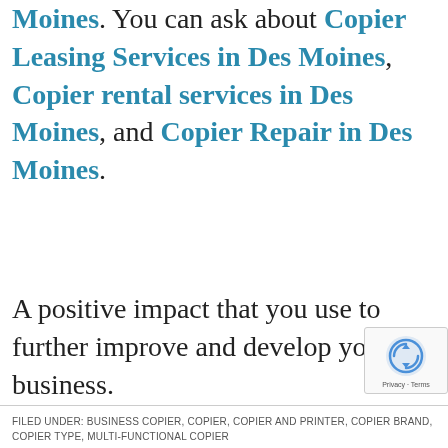Moines. You can ask about Copier Leasing Services in Des Moines, Copier rental services in Des Moines, and Copier Repair in Des Moines.
A positive impact that you use to further improve and develop your business.
FILED UNDER: BUSINESS COPIER, COPIER, COPIER AND PRINTER, COPIER BRAND, COPIER TYPE, MULTI-FUNCTIONAL COPIER